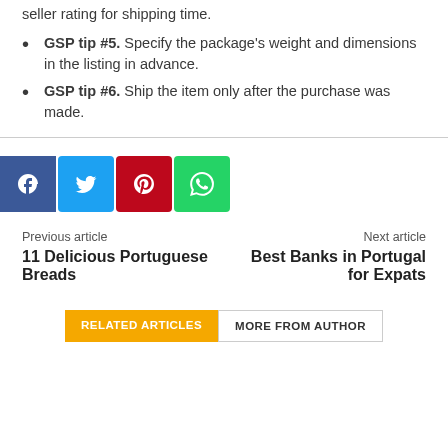seller rating for shipping time.
GSP tip #5. Specify the package's weight and dimensions in the listing in advance.
GSP tip #6. Ship the item only after the purchase was made.
[Figure (infographic): Social sharing buttons: Facebook (dark blue), Twitter (light blue), Pinterest (red), WhatsApp (green)]
Previous article
11 Delicious Portuguese Breads
Next article
Best Banks in Portugal for Expats
RELATED ARTICLES   MORE FROM AUTHOR